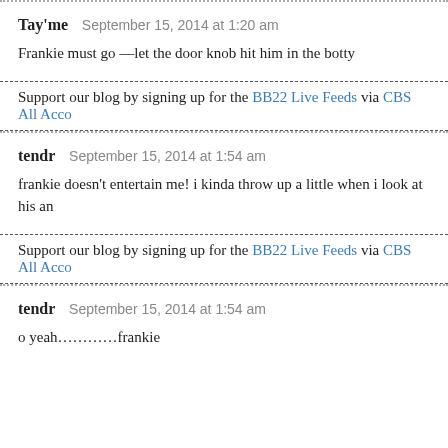Tay'me   September 15, 2014 at 1:20 am
Frankie must go —let the door knob hit him in the botty
Support our blog by signing up for the BB22 Live Feeds via CBS All Acco
tendr   September 15, 2014 at 1:54 am
frankie doesn't entertain me! i kinda throw up a little when i look at his an
Support our blog by signing up for the BB22 Live Feeds via CBS All Acco
tendr   September 15, 2014 at 1:54 am
o yeah…………frankie